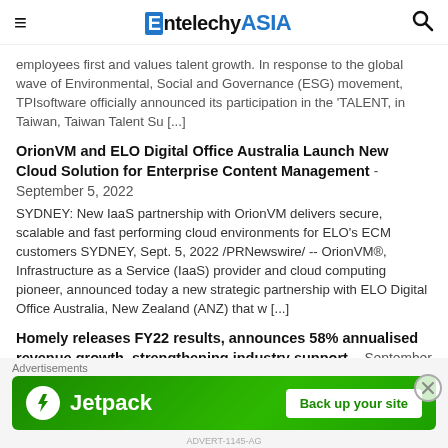EntelechyASIA
employees first and values talent growth. In response to the global wave of Environmental, Social and Governance (ESG) movement, TPIsoftware officially announced its participation in the 'TALENT, in Taiwan, Taiwan Talent Su [...]
OrionVM and ELO Digital Office Australia Launch New Cloud Solution for Enterprise Content Management - September 5, 2022
SYDNEY: New IaaS partnership with OrionVM delivers secure, scalable and fast performing cloud environments for ELO's ECM customers SYDNEY, Sept. 5, 2022 /PRNewswire/ -- OrionVM®, Infrastructure as a Service (IaaS) provider and cloud computing pioneer, announced today a new strategic partnership with ELO Digital Office Australia, New Zealand (ANZ) that w [...]
Homely releases FY22 results, announces 58% annualised revenue growth, strengthening industry support. - September 5, 2022
MELBOURNE, Australia: MELBOURNE, Australia, Sept. 5, 2022 /PRNewswire/ -- Highlights from Homely's full year results Revenue i... % th V 40% th f th fi t h lf f 2022...
[Figure (infographic): Jetpack advertisement banner with green background, Jetpack logo on left and 'Back up your site' button on right]